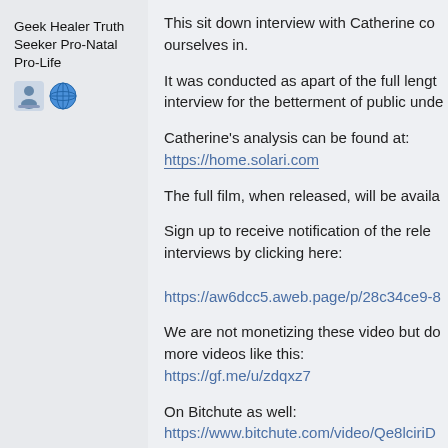Geek Healer Truth Seeker Pro-Natal Pro-Life
[Figure (illustration): Two small icons: a person/user icon and a globe/world icon]
This sit down interview with Catherine co- ourselves in.
It was conducted as apart of the full length interview for the betterment of public unde-
Catherine's analysis can be found at: https://home.solari.com
The full film, when released, will be availa-
Sign up to receive notification of the rele- interviews by clicking here:
https://aw6dcc5.aweb.page/p/28c34ce9-8
We are not monetizing these video but do- more videos like this: https://gf.me/u/zdqxz7
On Bitchute as well: https://www.bitchute.com/video/Qe8lciriD
Someone created a French version that c- https://youtu.be/AqqYcJnYUU8